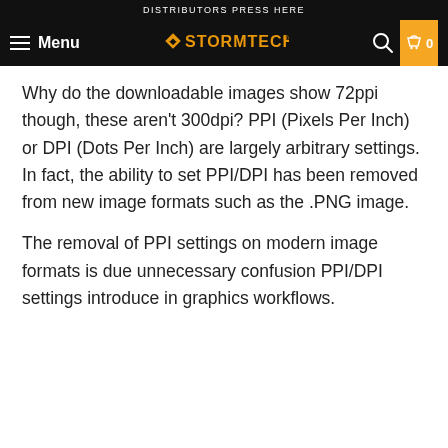DISTRIBUTORS PRESS HERE
[Figure (logo): Stormtech logo with menu, search and cart icons on black navigation bar]
Why do the downloadable images show 72ppi though, these aren't 300dpi? PPI (Pixels Per Inch) or DPI (Dots Per Inch) are largely arbitrary settings. In fact, the ability to set PPI/DPI has been removed from new image formats such as the .PNG image.
The removal of PPI settings on modern image formats is due unnecessary confusion PPI/DPI settings introduce in graphics workflows.